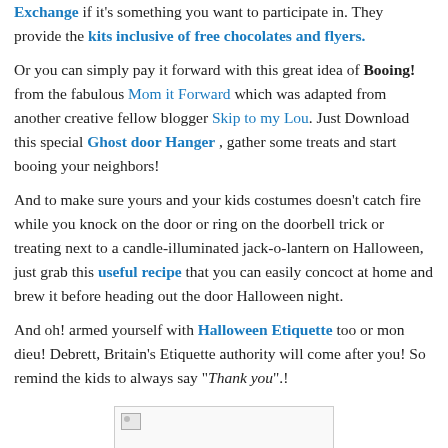Exchange if it's something you want to participate in. They provide the kits inclusive of free chocolates and flyers.
Or you can simply pay it forward with this great idea of Booing! from the fabulous Mom it Forward which was adapted from another creative fellow blogger Skip to my Lou. Just Download this special Ghost door Hanger , gather some treats and start booing your neighbors!
And to make sure yours and your kids costumes doesn't catch fire while you knock on the door or ring on the doorbell trick or treating next to a candle-illuminated jack-o-lantern on Halloween, just grab this useful recipe that you can easily concoct at home and brew it before heading out the door Halloween night.
And oh! armed yourself with Halloween Etiquette too or mon dieu! Debrett, Britain's Etiquette authority will come after you! So remind the kids to always say "Thank you".!
[Figure (photo): Image placeholder at the bottom of the page, partially visible]